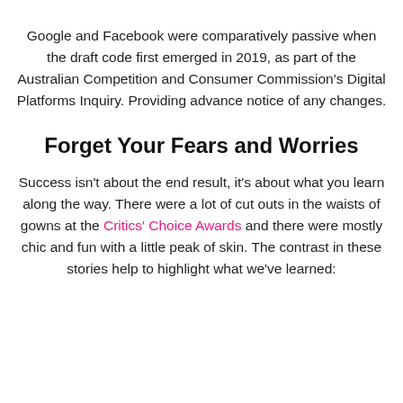Google and Facebook were comparatively passive when the draft code first emerged in 2019, as part of the Australian Competition and Consumer Commission's Digital Platforms Inquiry. Providing advance notice of any changes.
Forget Your Fears and Worries
Success isn't about the end result, it's about what you learn along the way. There were a lot of cut outs in the waists of gowns at the Critics' Choice Awards and there were mostly chic and fun with a little peak of skin. The contrast in these stories help to highlight what we've learned: